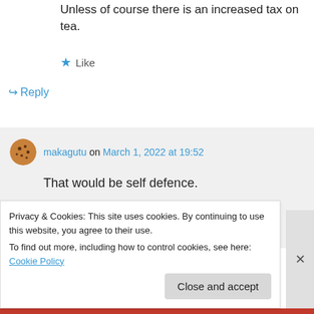Unless of course there is an increased tax on tea.
Like
Reply
makagutu on March 1, 2022 at 19:52
That would be self defence.
Going for war over tea would take us back to Boston tea party.
Privacy & Cookies: This site uses cookies. By continuing to use this website, you agree to their use. To find out more, including how to control cookies, see here: Cookie Policy
Close and accept